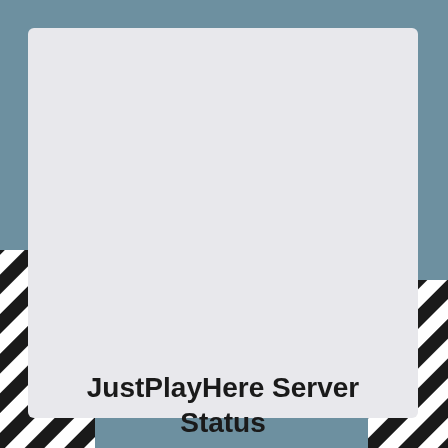[Figure (illustration): Background with muted teal/steel blue color and diagonal black and white stripe pattern on the left and right sides, resembling a server or tech-themed decorative background.]
JustPlayHere Server Status